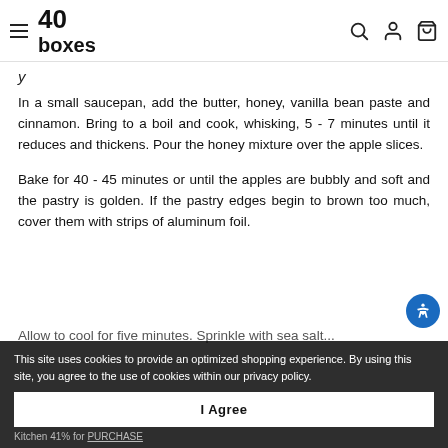40 boxes
In a small saucepan, add the butter, honey, vanilla bean paste and cinnamon. Bring to a boil and cook, whisking, 5 - 7 minutes until it reduces and thickens. Pour the honey mixture over the apple slices.
Bake for 40 - 45 minutes or until the apples are bubbly and soft and the pastry is golden. If the pastry edges begin to brown too much, cover them with strips of aluminum foil.
Allow to cool for five minutes. Sprinkle with sea salt...
This site uses cookies to provide an optimized shopping experience. By using this site, you agree to the use of cookies within our privacy policy.
I Agree
Kitchen 41% for PURCHASE